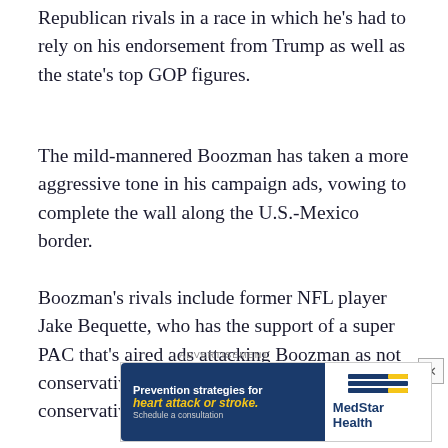Republican rivals in a race in which he's had to rely on his endorsement from Trump as well as the state's top GOP figures.
The mild-mannered Boozman has taken a more aggressive tone in his campaign ads, vowing to complete the wall along the U.S.-Mexico border.
Boozman's rivals include former NFL player Jake Bequette, who has the support of a super PAC that's aired ads attacking Boozman as not conservative enough, and Jan Morgan, a conservative activist and former TV reporter.
ADVERTISEMENT
[Figure (other): Advertisement banner for MedStar Health. Left side has dark blue background with white bold text 'Prevention strategies for' and yellow bold text 'heart attack or stroke.' and small grey text 'Schedule a consultation'. Right side shows MedStar Health logo with blue stripe graphic and bold blue text 'MedStar Health'.]